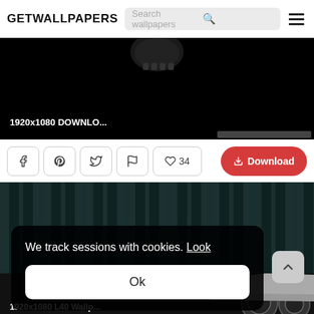GETWALLPAPERS
[Figure (screenshot): Dark wallpaper with skull/face at top, label '1920x1080 DOWNLO...' at bottom left]
1920x1080 DOWNLO...
f  Pinterest  Twitter  Flag  ♡ 34   Download
[Figure (screenshot): Dark teal/green vertical striped background wallpaper with car visible at right, label '1920x1080 L40 Wallp...' at bottom]
We track sessions with cookies. Look
Ok
1920x1080 L40 Wallp...